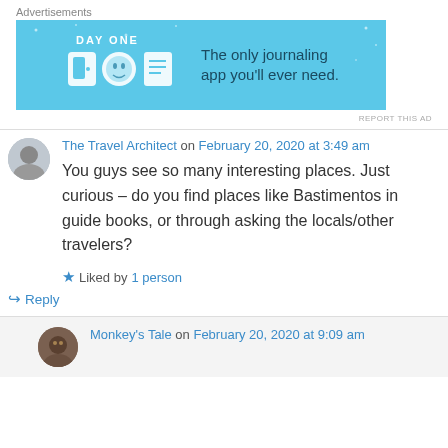Advertisements
[Figure (other): DAY ONE journaling app advertisement banner. Blue background with icons and text: 'The only journaling app you'll ever need.']
REPORT THIS AD
The Travel Architect on February 20, 2020 at 3:49 am
You guys see so many interesting places. Just curious – do you find places like Bastimentos in guide books, or through asking the locals/other travelers?
Liked by 1 person
↳ Reply
Monkey's Tale on February 20, 2020 at 9:09 am